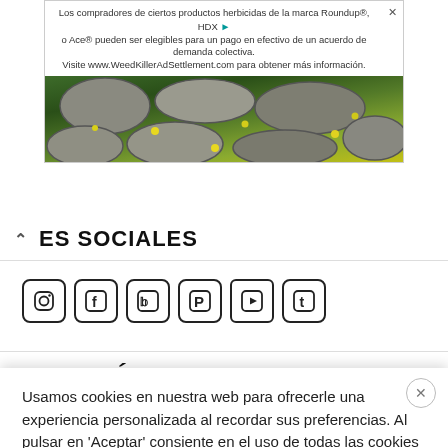[Figure (screenshot): Advertisement banner for WeedKillerAdSettlement.com with text about Roundup and Ace herbicide products class action settlement, overlaid on a stone path with yellow flowers and grass]
ES SOCIALES
[Figure (infographic): Row of social media icons: Instagram, Facebook, Twitter, Pinterest, YouTube, Tumblr]
LOS MÁS POPULARES
Usamos cookies en nuestra web para ofrecerle una experiencia personalizada al recordar sus preferencias. Al pulsar en 'Aceptar' consiente en el uso de todas las cookies
No vender mi información personal. Leer más Rechazar
Aceptar   Configuración de cookies